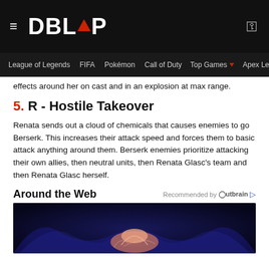≡ DBLTAP
League of Legends  FIFA  Pokémon  Call of Duty  Top Games ▼  Apex Legends  Overwatch
effects around her on cast and in an explosion at max range.
5. R - Hostile Takeover
Renata sends out a cloud of chemicals that causes enemies to go Berserk. This increases their attack speed and forces them to basic attack anything around them. Berserk enemies prioritize attacking their own allies, then neutral units, then Renata Glasc's team and then Renata Glasc herself.
Around the Web
Recommended by Outbrain
[Figure (photo): Close-up fantasy artwork of a blue glowing creature with tentacles or wings, with a warm pinkish glow in the center]